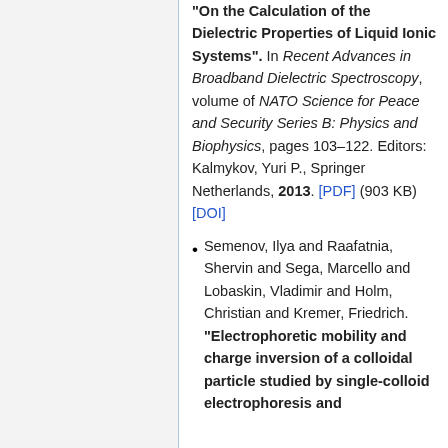"On the Calculation of the Dielectric Properties of Liquid Ionic Systems". In Recent Advances in Broadband Dielectric Spectroscopy, volume of NATO Science for Peace and Security Series B: Physics and Biophysics, pages 103–122. Editors: Kalmykov, Yuri P., Springer Netherlands, 2013. [PDF] (903 KB) [DOI]
Semenov, Ilya and Raafatnia, Shervin and Sega, Marcello and Lobaskin, Vladimir and Holm, Christian and Kremer, Friedrich. "Electrophoretic mobility and charge inversion of a colloidal particle studied by single-colloid electrophoresis and